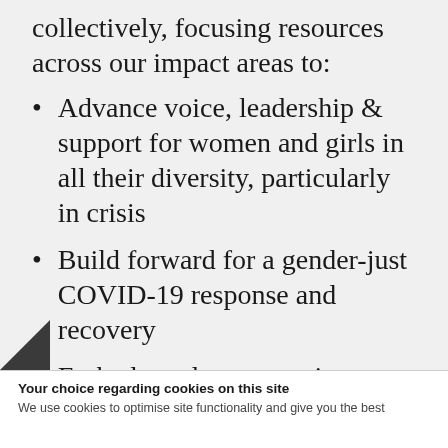collectively, focusing resources across our impact areas to:
Advance voice, leadership & support for women and girls in all their diversity, particularly in crisis
Build forward for a gender-just COVID-19 response and recovery
Embed gender-responsive advocacy throughout our programming
Your choice regarding cookies on this site
We use cookies to optimise site functionality and give you the best